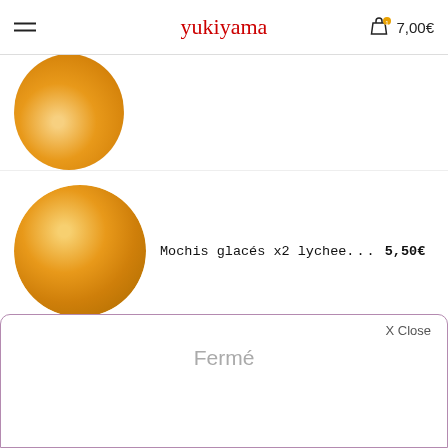yukiyama  7,00€
[Figure (photo): Partially visible circular product image showing mochi at top of list]
Mochis glacés x2 lychee.... 5,50€
[Figure (photo): Circular photo of orange mochi glacé lychee]
Mochis glacés x2 mangue.... 5,50€
[Figure (photo): Circular photo of orange mochi glacé mangue (partially visible)]
X Close
Fermé